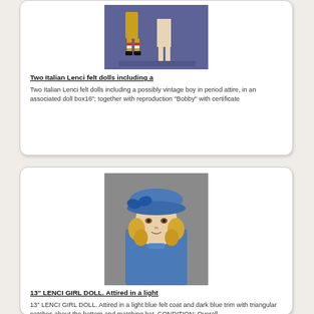[Figure (photo): Two Italian Lenci felt dolls photographed on a blue/purple background, showing their lower bodies with period clothing including yellow trousers and striped socks]
Two Italian Lenci felt dolls including a
Two Italian Lenci felt dolls including a possibly vintage boy in period attire, in an associated doll box16"; together with reproduction "Bobby" with certificate
[Figure (photo): 13-inch Lenci girl doll with blonde curly hair, wearing a light blue felt coat and dark blue hat with bow]
13" LENCI GIRL DOLL. Attired in a light
13" LENCI GIRL DOLL. Attired in a light blue felt coat and dark blue trim with triangular patches about the bottom and matching hat. CONDITION: Overall